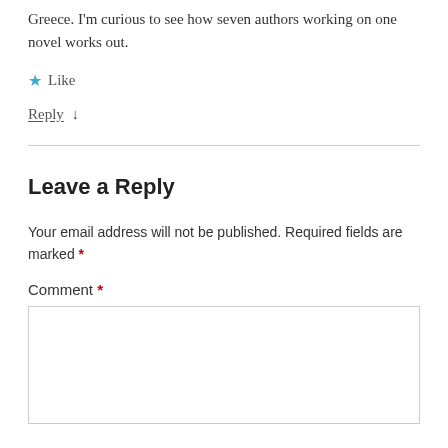Greece. I'm curious to see how seven authors working on one novel works out.
★ Like
Reply ↓
Leave a Reply
Your email address will not be published. Required fields are marked *
Comment *